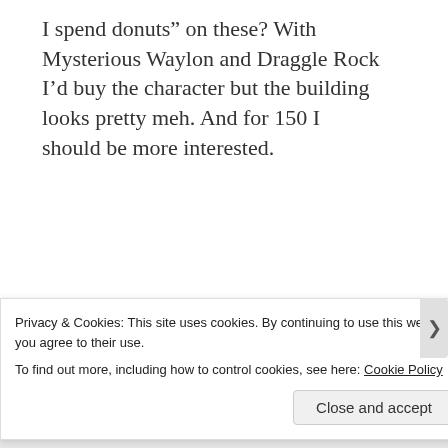I spend donuts” on these? With Mysterious Waylon and Draggle Rock I’d buy the character but the building looks pretty meh. And for 150 I should be more interested.
★  Loading...
Alissa | May 21, 2020 at 9:51 am | Reply
[Figure (photo): Avatar photo of Alissa showing two women and a child]
Privacy & Cookies: This site uses cookies. By continuing to use this website, you agree to their use.
To find out more, including how to control cookies, see here: Cookie Policy
Close and accept